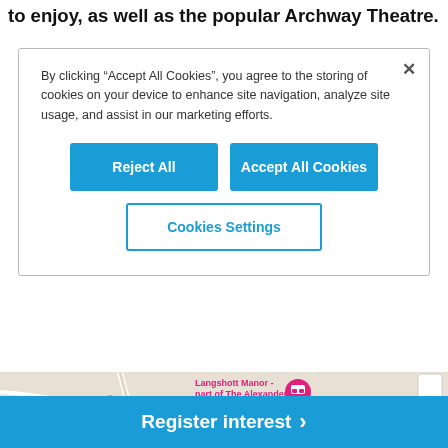to enjoy, as well as the popular Archway Theatre.
By clicking “Accept All Cookies”, you agree to the storing of cookies on your device to enhance site navigation, analyze site usage, and assist in our marketing efforts.
Reject All
Accept All Cookies
Cookies Settings
[Figure (map): Google Maps view showing Langshott Manor - part of The Alexander... with a pink location pin, roads including B2036, and Wheatfield Way label. Map controls (zoom in/out squares) visible on right side.]
Register interest >